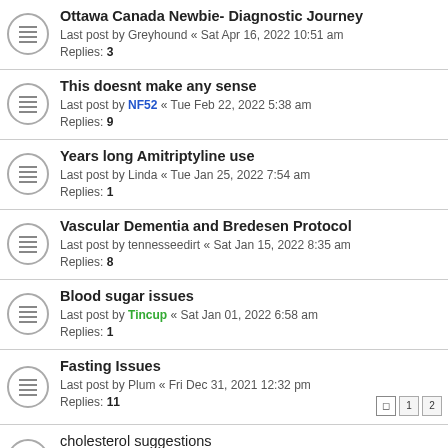Ottawa Canada Newbie- Diagnostic Journey
Last post by Greyhound « Sat Apr 16, 2022 10:51 am
Replies: 3
This doesnt make any sense
Last post by NF52 « Tue Feb 22, 2022 5:38 am
Replies: 9
Years long Amitriptyline use
Last post by Linda « Tue Jan 25, 2022 7:54 am
Replies: 1
Vascular Dementia and Bredesen Protocol
Last post by tennesseedirt « Sat Jan 15, 2022 8:35 am
Replies: 8
Blood sugar issues
Last post by Tincup « Sat Jan 01, 2022 6:58 am
Replies: 1
Fasting Issues
Last post by Plum « Fri Dec 31, 2021 12:32 pm
Replies: 11
cholesterol suggestions
Last post by SBee « Wed Nov 17, 2021 6:28 pm
Replies: 6